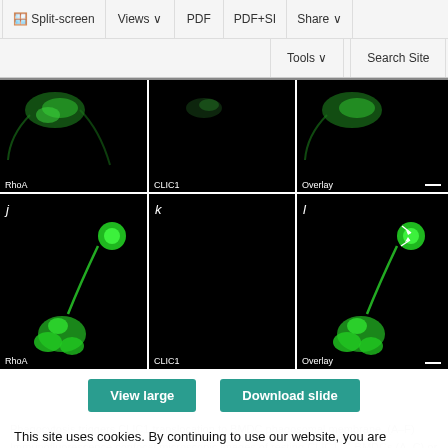[Figure (screenshot): Webpage toolbar with Split-screen, Views, PDF, PDF+SI, Share buttons in first row; Tools and Search Site buttons in second row]
[Figure (photo): Two rows of fluorescence confocal microscopy images. Top row (g,h,i): RhoA, CLIC1, Overlay channels showing cells at top. Bottom row (j,k,l): RhoA, CLIC1, Overlay channels showing two green fluorescent cells with protrusion; arrows visible in overlay panel l.]
[Figure (screenshot): Two action buttons: 'View large' and 'Download slide' in teal/green color]
This site uses cookies. By continuing to use our website, you are agreeing to our privacy policy. Accept
Phagocytosis triggers CLIC1 translocation to BMDC phagosomal membrane. (A–F) Immunofluorescence confocal microscopic images of resting CLIC1+/+ BMDCs (A–C) or BMDCs phagocytosing